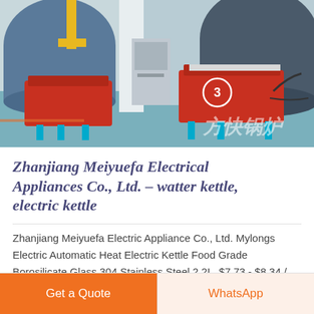[Figure (photo): Industrial boiler room with red gas burner units on a teal/blue floor, with large cylindrical tanks and yellow pipes. Chinese watermark text visible in lower right.]
Zhanjiang Meiyuefa Electrical Appliances Co., Ltd. – watter kettle, electric kettle
Zhanjiang Meiyuefa Electric Appliance Co., Ltd. Mylongs Electric Automatic Heat Electric Kettle Food Grade Borosilicate Glass 304 Stainless Steel 2.2L. $7.73 - $8.34 / Price. 12 (Min.Order) Mylongs 2.0L stainless steel 2000W